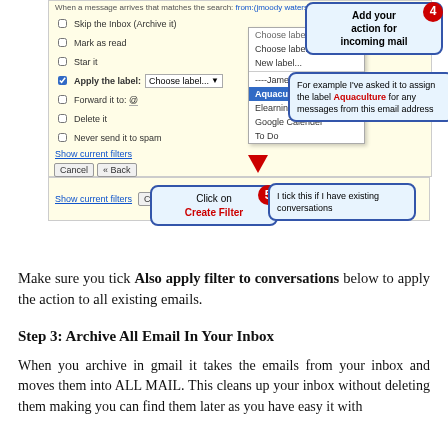[Figure (screenshot): Gmail filter creation UI screenshot showing filter options (Skip the Inbox, Mark as read, Star it, Apply the label, Forward it to, Delete it, Never send it to spam) with a dropdown showing label choices including Aquaculture (highlighted). Two annotated callout bubbles: #4 'Add your action for incoming mail' and an explanation about assigning the Aquaculture label. A second strip shows the Create Filter button with callout #5 'Click on Create Filter' and 'I tick this if I have existing conversations'. A red downward arrow points from the dropdown to the Create Filter button.]
Make sure you tick Also apply filter to conversations below to apply the action to all existing emails.
Step 3: Archive All Email In Your Inbox
When you archive in gmail it takes the emails from your inbox and moves them into ALL MAIL. This cleans up your inbox without deleting them making you can find them later as you have easy it with